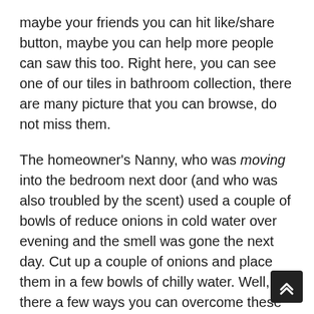maybe your friends you can hit like/share button, maybe you can help more people can saw this too. Right here, you can see one of our tiles in bathroom collection, there are many picture that you can browse, do not miss them.
The homeowner's Nanny, who was moving into the bedroom next door (and who was also troubled by the scent) used a couple of bowls of reduce onions in cold water over evening and the smell was gone the next day. Cut up a couple of onions and place them in a few bowls of chilly water. Well, there a few ways you can overcome these situations past obvious ventilation to control, get rid of and even forestall odors from lingering. Separate bathrooms, showers and laundry services are just some of the amenities that may be added. Depending on the size, your pool home can even double as area for a house gym, dwelling theatre,